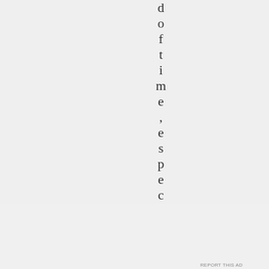d o f t i m e , e s p e c
Advertisements
Build a writing habit.
Post on the go.
GET THE APP